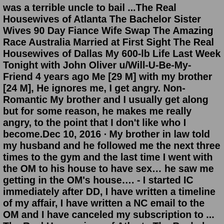was a terrible uncle to bail ...The Real Housewives of Atlanta The Bachelor Sister Wives 90 Day Fiance Wife Swap The Amazing Race Australia Married at First Sight The Real Housewives of Dallas My 600-lb Life Last Week Tonight with John Oliver u/Will-U-Be-My-Friend 4 years ago Me [29 M] with my brother [24 M], He ignores me, I get angry. Non-Romantic My brother and I usually get along but for some reason, he makes me really angry, to the point that I don't like who I become.Dec 10, 2016 · My brother in law told my husband and he followed me the next three times to the gym and the last time I went with the OM to his house to have sex… he saw me getting in the OM's house…. - I started IC immediately after DD, I have written a timeline of my affair, I have written a NC email to the OM and I have canceled my subscription to ... The Real Housewives of Atlanta The Bachelor Sister Wives 90 Day Fiance Wife Swap The Amazing Race Australia Married at First Sight The Real Housewives of Dallas My 600-lb Life Last Week Tonight with John Oliver My younger brother